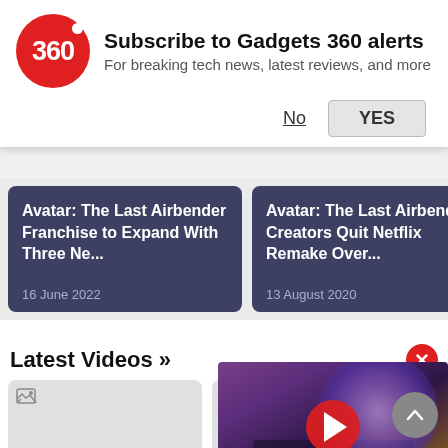[Figure (screenshot): Gadgets 360 subscription alert banner with red circular logo showing '360', bold title 'Subscribe to Gadgets 360 alerts', subtitle 'For breaking tech news, latest reviews, and more', with 'No' and 'YES' buttons]
[Figure (screenshot): Two article cards with dark blue-grey background: 'Avatar: The Last Airbender Franchise to Expand With Three Ne...' dated 16 June 2022, and 'Avatar: The Last Airbender Creators Quit Netflix Remake Over...' dated 13 August 2020, plus partial third card]
Latest Videos »
[Figure (screenshot): Video thumbnail placeholder with broken image icon, duration badge showing '05:37', label 'Does Vivo Have a']
[Figure (screenshot): Video thumbnail showing TV with galaxy wallpaper on screen with red play button overlay, duration badge showing '21:39', label 'Best Camera Phone']